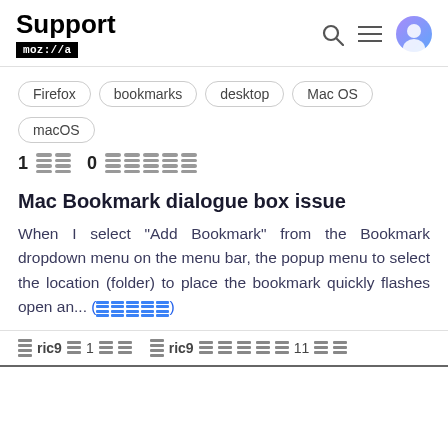Support mozilla//a
Firefox
bookmarks
desktop
Mac OS
macOS
1 [bar blocks] 0 [bar blocks]
Mac Bookmark dialogue box issue
When I select "Add Bookmark" from the Bookmark dropdown menu on the menu bar, the popup menu to select the location (folder) to place the bookmark quickly flashes open an... (more)
ric9 1 [redacted] ric9 [redacted] 11 [redacted]